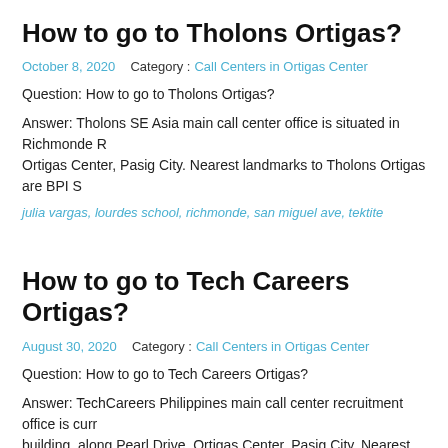How to go to Tholons Ortigas?
October 8, 2020    Category :  Call Centers in Ortigas Center
Question: How to go to Tholons Ortigas?
Answer: Tholons SE Asia main call center office is situated in Richmonde R... Ortigas Center, Pasig City. Nearest landmarks to Tholons Ortigas are BPI S...
julia vargas, lourdes school, richmonde, san miguel ave, tektite
How to go to Tech Careers Ortigas?
August 30, 2020    Category :  Call Centers in Ortigas Center
Question: How to go to Tech Careers Ortigas?
Answer: TechCareers Philippines main call center recruitment office is curr... building, along Pearl Drive, Ortigas Center, Pasig City. Nearest landmarks... McDonalds and …
adb ave, julia vargas, mcdonalds, tektite, yellow cab